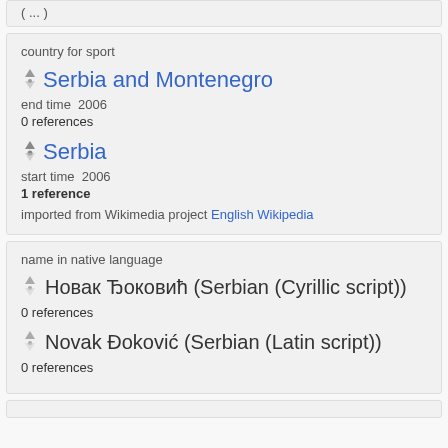( ... )
country for sport
Serbia and Montenegro
end time  2006
0 references
Serbia
start time  2006
1 reference
imported from Wikimedia project  English Wikipedia
name in native language
Новак Ђоковић (Serbian (Cyrillic script))
0 references
Novak Đoković (Serbian (Latin script))
0 references